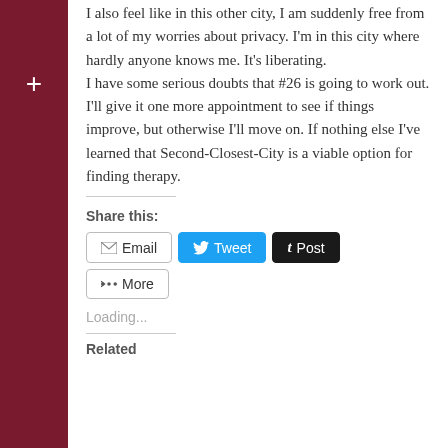I also feel like in this other city, I am suddenly free from a lot of my worries about privacy. I'm in this city where hardly anyone knows me. It's liberating.
I have some serious doubts that #26 is going to work out. I'll give it one more appointment to see if things improve, but otherwise I'll move on. If nothing else I've learned that Second-Closest-City is a viable option for finding therapy.
Share this:
Loading...
Related